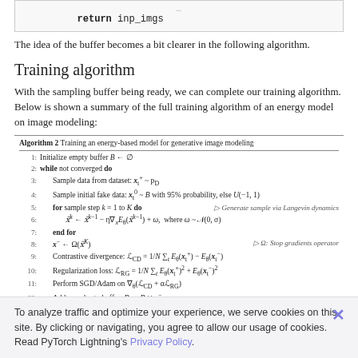[Figure (screenshot): Code snippet showing 'return inp_imgs' in monospace font inside a bordered box]
The idea of the buffer becomes a bit clearer in the following algorithm.
Training algorithm
With the sampling buffer being ready, we can complete our training algorithm. Below is shown a summary of the full training algorithm of an energy model on image modeling:
[Figure (other): Algorithm 2: Training an energy-based model for generative image modeling. Steps include initializing empty buffer B, while not converged do: sample data from dataset, sample initial fake data, run Langevin dynamics for K steps, compute contrastive divergence and regularization loss, perform SGD/Adam update, add samples to buffer.]
To analyze traffic and optimize your experience, we serve cookies on this site. By clicking or navigating, you agree to allow our usage of cookies. Read PyTorch Lightning's Privacy Policy.